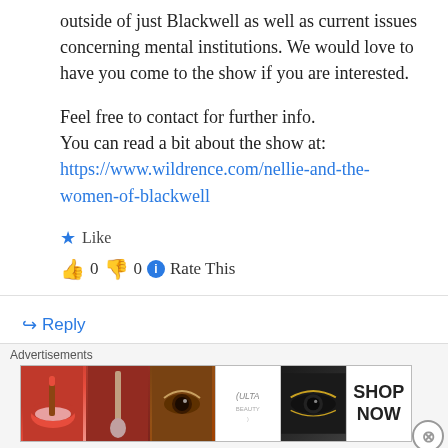outside of just Blackwell as well as current issues concerning mental institutions. We would love to have you come to the show if you are interested.
Feel free to contact for further info.
You can read a bit about the show at:
https://www.wildrence.com/nellie-and-the-women-of-blackwell
★ Like
👍 0 👎 0 ℹ Rate This
↪ Reply
Advertisements
[Figure (photo): Advertisement banner showing beauty/makeup imagery with ULTA logo and SHOP NOW text]